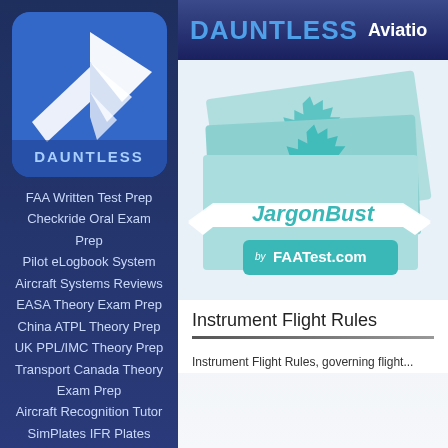[Figure (logo): Dauntless Aviation logo — blue rounded square with white wing/chevron graphic and DAUNTLESS text below]
FAA Written Test Prep
Checkride Oral Exam Prep
Pilot eLogbook System
Aircraft Systems Reviews
EASA Theory Exam Prep
China ATPL Theory Prep
UK PPL/IMC Theory Prep
Transport Canada Theory Exam Prep
Aircraft Recognition Tutor
SimPlates IFR Plates
FAR/AIM Reference
All Software and Apps
Aviation Freebies
DAUNTLESS   Aviation
[Figure (logo): JargonBuster by FAATest.com logo — teal/mint colored badge with starburst border and ribbon banner, stacked books graphic]
Instrument Flight Rules
Instrument Flight Rules, governing flight...